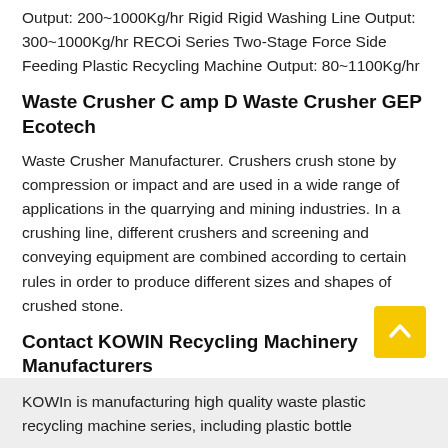Output: 200~1000Kg/hr Rigid Rigid Washing Line Output: 300~1000Kg/hr RECOi Series Two-Stage Force Side Feeding Plastic Recycling Machine Output: 80~1100Kg/hr
Waste Crusher C amp D Waste Crusher GEP Ecotech
Waste Crusher Manufacturer. Crushers crush stone by compression or impact and are used in a wide range of applications in the quarrying and mining industries. In a crushing line, different crushers and screening and conveying equipment are combined according to certain rules in order to produce different sizes and shapes of crushed stone.
Contact KOWIN Recycling Machinery Manufacturers
KOWIn is manufacturing high quality waste plastic recycling machine series, including plastic bottle